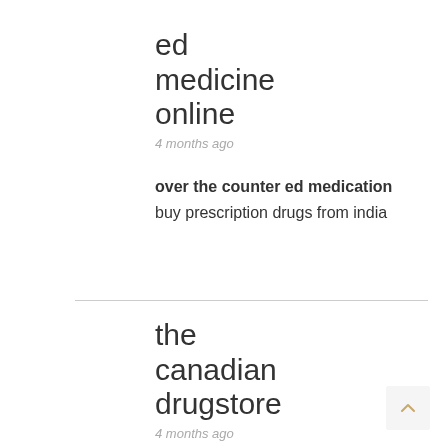ed
medicine
online
4 months ago
over the counter ed medication
buy prescription drugs from india
the
canadian
drugstore
4 months ago